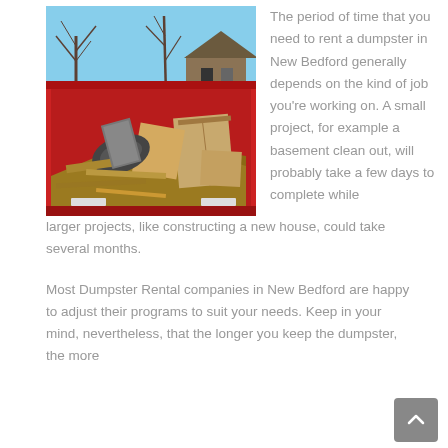[Figure (photo): A large red dumpster filled with cardboard boxes, debris, and various junk items, photographed outdoors with bare trees and a house visible in the background against a blue sky.]
The period of time that you need to rent a dumpster in New Bedford generally depends on the kind of job you're working on. A small project, for example a basement clean out, will probably take a few days to complete while larger projects, like constructing a new house, could take several months.
Most Dumpster Rental companies in New Bedford are happy to adjust their programs to suit your needs. Keep in your mind, nevertheless, that the longer you keep the dumpster, the more